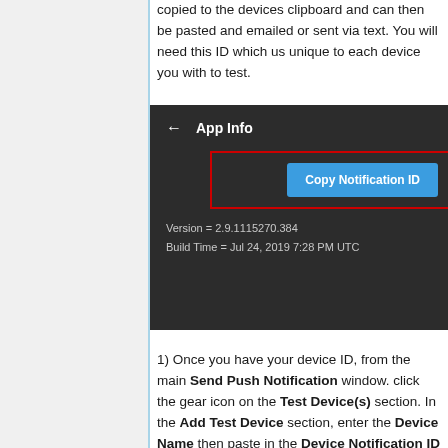copied to the devices clipboard and can then be pasted and emailed or sent via text. You will need this ID which us unique to each device you with to test.
[Figure (screenshot): Screenshot of an Android App Info screen with a dark background showing 'App Info' header with back arrow, a red-bordered box highlighting a blue 'Copy Notification ID' button, and version/build info: Version = 2.9.1115270.384, Build Time = Jul 24, 2019 7:28 PM UTC]
1) Once you have your device ID, from the main Send Push Notification window. click the gear icon on the Test Device(s) section. In the Add Test Device section, enter the Device Name then paste in the Device Notification ID